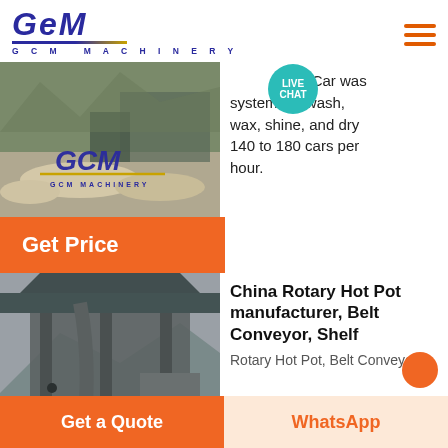[Figure (logo): GCM Machinery logo with blue stylized text and gold underline]
[Figure (photo): Outdoor mining/quarry site with rocks and GCM Machinery branding overlay]
Ft. Car wash systems to wash, wax, shine, and dry 140 to 180 cars per hour.
[Figure (other): Live Chat bubble button in teal]
Get Price
[Figure (photo): Industrial machinery building exterior in black and white]
China Rotary Hot Pot manufacturer, Belt Conveyor, Shelf
Rotary Hot Pot, Belt Conveyor,
Get a Quote
WhatsApp